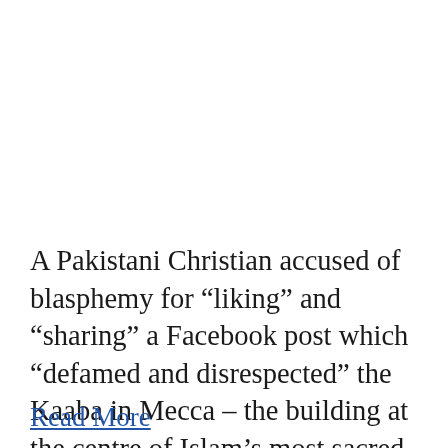A Pakistani Christian accused of blasphemy for “liking” and “sharing” a Facebook post which “defamed and disrespected” the Kaaba in Mecca – the building at the centre of Islam’s most sacred mosque – has been granted bail after four years in prison. […]
Read More